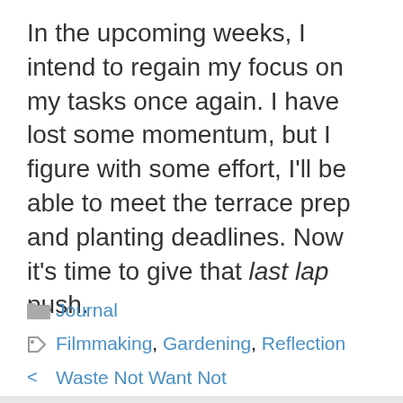In the upcoming weeks, I intend to regain my focus on my tasks once again. I have lost some momentum, but I figure with some effort, I'll be able to meet the terrace prep and planting deadlines. Now it's time to give that last lap push.
Journal
Filmmaking, Gardening, Reflection
< Waste Not Want Not
> Striking A Balance?